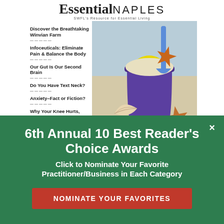[Figure (illustration): Magazine cover of Essential NAPLES showing a purple beach bucket with sand, a blue shovel, and starfish on a sandy beach background. Left sidebar lists article headlines.]
6th Annual 10 Best Reader's Choice Awards
Click to Nominate Your Favorite Practitioner/Business in Each Category
NOMINATE YOUR FAVORITES